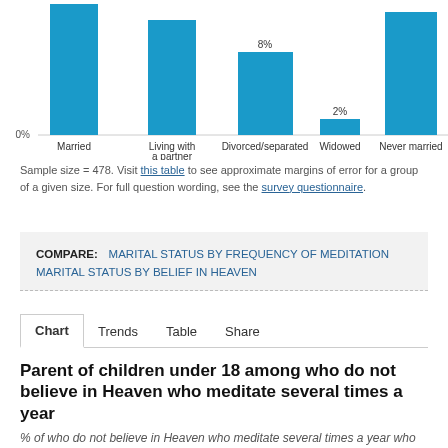[Figure (bar-chart): Marital status bar chart (partial)]
Sample size = 478. Visit this table to see approximate margins of error for a group of a given size. For full question wording, see the survey questionnaire.
COMPARE: MARITAL STATUS BY FREQUENCY OF MEDITATION   MARITAL STATUS BY BELIEF IN HEAVEN
Chart   Trends   Table   Share
Parent of children under 18 among who do not believe in Heaven who meditate several times a year
% of who do not believe in Heaven who meditate several times a year who are...